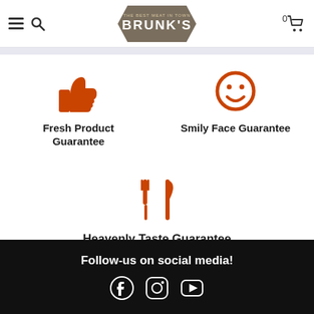[Figure (logo): Brunk's meat shop logo in a hexagonal badge shape with text THE BEST MEAT IN TOWN BRUNK'S]
[Figure (illustration): Orange thumbs-up icon representing Fresh Product Guarantee]
Fresh Product Guarantee
[Figure (illustration): Orange smiley face icon representing Smily Face Guarantee]
Smily Face Guarantee
[Figure (illustration): Orange fork and knife icon representing Heavenly Taste Guarantee]
Heavenly Taste Guarantee
Follow-us on social media!
[Figure (illustration): Social media icons: Facebook, Instagram, YouTube]